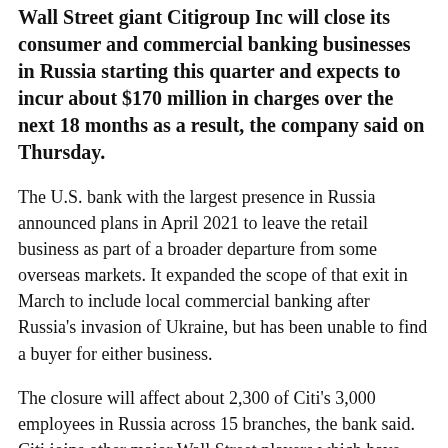Wall Street giant Citigroup Inc will close its consumer and commercial banking businesses in Russia starting this quarter and expects to incur about $170 million in charges over the next 18 months as a result, the company said on Thursday.
The U.S. bank with the largest presence in Russia announced plans in April 2021 to leave the retail business as part of a broader departure from some overseas markets. It expanded the scope of that exit in March to include local commercial banking after Russia's invasion of Ukraine, but has been unable to find a buyer for either business.
The closure will affect about 2,300 of Citi's 3,000 employees in Russia across 15 branches, the bank said. Citi joins other major Wall Street players which have also shut or announced plans to close operations in Russia, in line